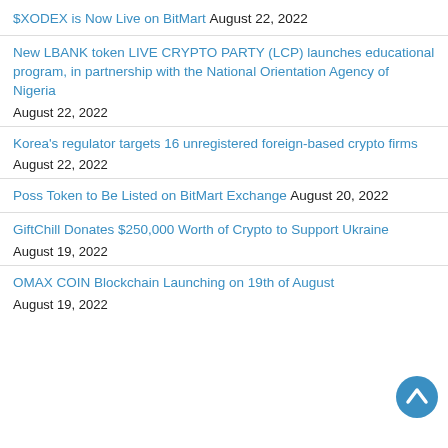$XODEX is Now Live on BitMart August 22, 2022
New LBANK token LIVE CRYPTO PARTY (LCP) launches educational program, in partnership with the National Orientation Agency of Nigeria
August 22, 2022
Korea's regulator targets 16 unregistered foreign-based crypto firms
August 22, 2022
Poss Token to Be Listed on BitMart Exchange August 20, 2022
GiftChill Donates $250,000 Worth of Crypto to Support Ukraine
August 19, 2022
OMAX COIN Blockchain Launching on 19th of August
August 19, 2022